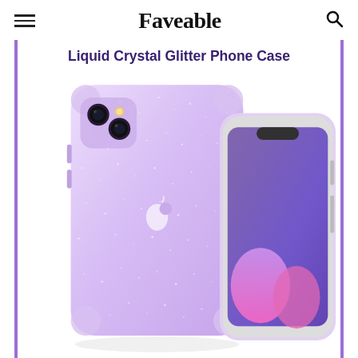Faveable
Liquid Crystal Glitter Phone Case
[Figure (photo): Product photo of a Spigen Liquid Crystal Glitter iPhone case in purple/lavender glitter. Shows two views: the back of the case with the Apple logo visible through sparkly translucent purple material, and the front/side view of the phone showing the screen with purple and pink wallpaper. The case has reinforced corners and a clear glitter shimmer effect.]